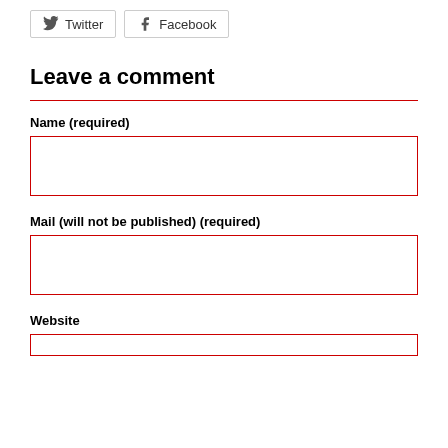[Figure (other): Twitter share button with bird icon]
[Figure (other): Facebook share button with f icon]
Leave a comment
Name (required)
[Figure (other): Name input field with red border]
Mail (will not be published) (required)
[Figure (other): Mail input field with red border]
Website
[Figure (other): Website input field with red border (partial)]